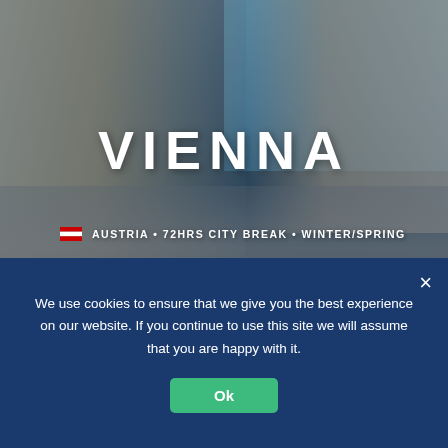[Figure (photo): Vienna Austria street scene with historic baroque palace building (Hofburg area), people walking in a courtyard, blue sky, street lamp. Large white VIENNA text overlay with subtitle AUSTRIA · 72HRS CITY BREAK · WINTER/SPRING and a flag icon. Gold score bar at bottom reading SCORE 86%.]
LIFEINOURVAN CITY REVIEWS | VIENNA | AUSTRIA
We use cookies to ensure that we give you the best experience on our website. If you continue to use this site we will assume that you are happy with it.